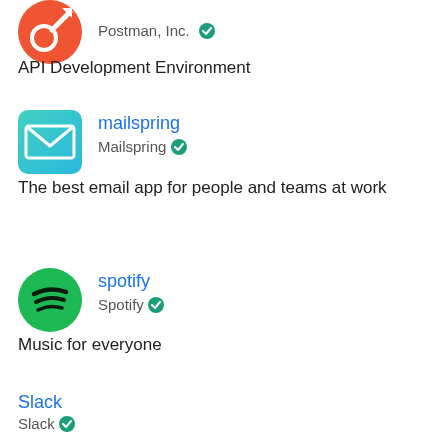[Figure (logo): Postman orange logo (partially visible at top)]
Postman, Inc. ✓
API Development Environment
[Figure (logo): Mailspring teal envelope logo]
mailspring
Mailspring ✓
The best email app for people and teams at work
[Figure (logo): Spotify green circle logo]
spotify
Spotify ✓
Music for everyone
Slack
Slack ✓